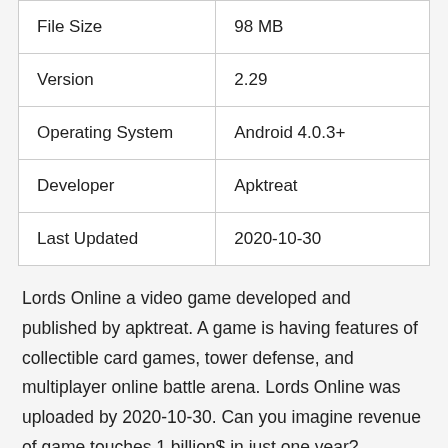| File Size | 98 MB |
| Version | 2.29 |
| Operating System | Android 4.0.3+ |
| Developer | Apktreat |
| Last Updated | 2020-10-30 |
Lords Online a video game developed and published by apktreat. A game is having features of collectible card games, tower defense, and multiplayer online battle arena. Lords Online was uploaded by 2020-10-30. Can you imagine revenue of game touches 1 billion$ in just one year?